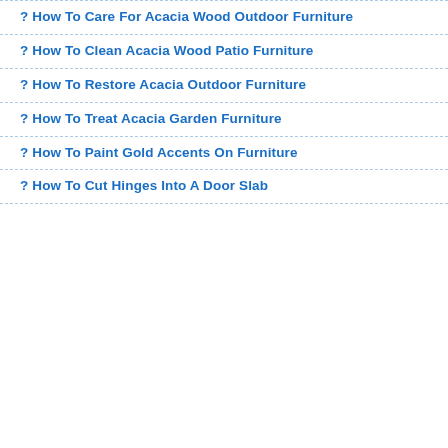? How To Care For Acacia Wood Outdoor Furniture
? How To Clean Acacia Wood Patio Furniture
? How To Restore Acacia Outdoor Furniture
? How To Treat Acacia Garden Furniture
? How To Paint Gold Accents On Furniture
? How To Cut Hinges Into A Door Slab